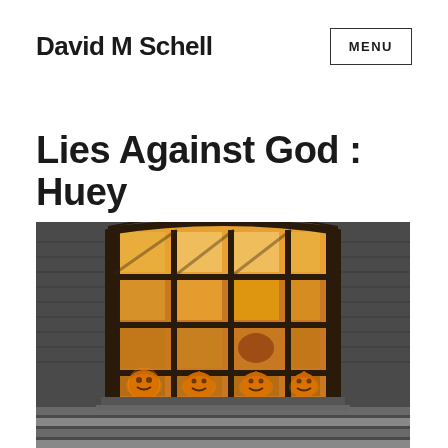David M Schell
Lies Against God : Huey
[Figure (photo): A large arched window with dark frames divided into a grid of panes, glowing with warm orange/yellow light from inside. Four illuminated jack-o'-lanterns are visible on the bottom windowsill. The exterior shows wooden siding and steps.]